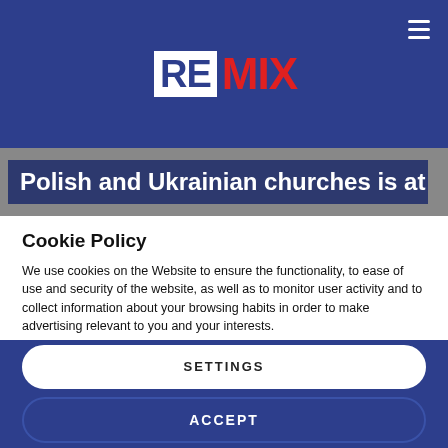REMIX
Polish and Ukrainian churches is at
Cookie Policy
We use cookies on the Website to ensure the functionality, to ease of use and security of the website, as well as to monitor user activity and to collect information about your browsing habits in order to make advertising relevant to you and your interests.
Clicking on "Accept" you can allow all cookies. If you would like to reject or customize, please click on "Settings".
Read more: Cookie Policy
SETTINGS
ACCEPT